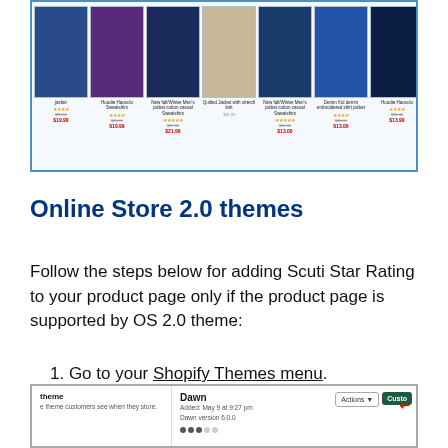[Figure (screenshot): Screenshot of an online store product listing showing clothing items with star ratings and prices]
Online Store 2.0 themes
Follow the steps below for adding Scuti Star Rating to your product page only if the product page is supported by OS 2.0 theme:
1. Go to your Shopify Themes menu.
2. From the "Current theme" section, click on Customize.
[Figure (screenshot): Screenshot of Shopify Themes admin page showing Dawn theme with Actions button and Customize button highlighted with red arrow]